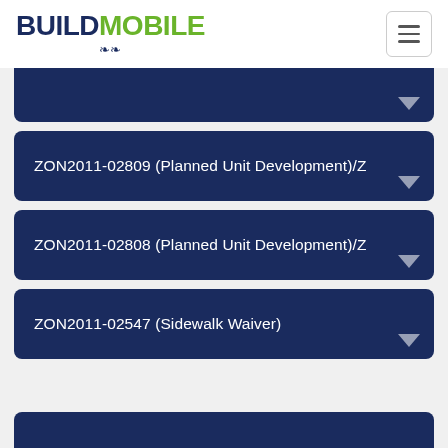[Figure (logo): BuildMobile logo with stylized text and decorative icon]
ZON2011-02809 (Planned Unit Development)/Z
ZON2011-02808 (Planned Unit Development)/Z
ZON2011-02547 (Sidewalk Waiver)